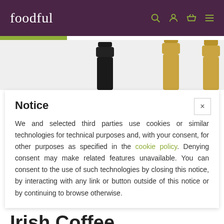foodful
[Figure (photo): Three champagne/sparkling wine bottle tops visible from above on a light grey background — one black foil, two gold foils.]
Notice
We and selected third parties use cookies or similar technologies for technical purposes and, with your consent, for other purposes as specified in the cookie policy. Denying consent may make related features unavailable. You can consent to the use of such technologies by closing this notice, by interacting with any link or button outside of this notice or by continuing to browse otherwise.
Irish Coffee